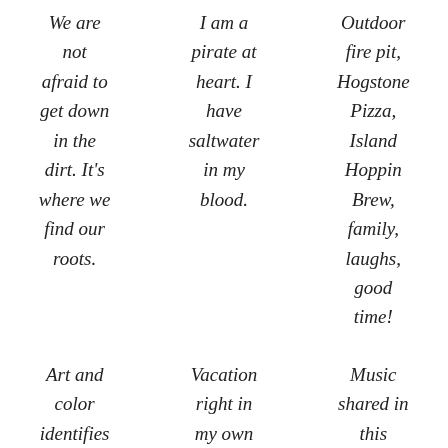We are not afraid to get down in the dirt. It's where we find our roots.
I am a pirate at heart. I have saltwater in my blood.
Outdoor fire pit, Hogstone Pizza, Island Hoppin Brew, family, laughs, good time!
Art and color identifies
Vacation right in my own
Music shared in this